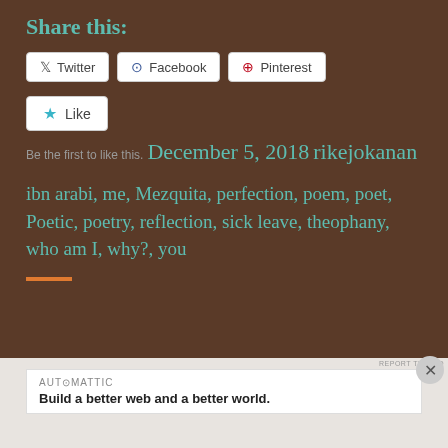Share this:
[Figure (screenshot): Social share buttons: Twitter, Facebook, Pinterest]
[Figure (screenshot): Like button with star icon]
Be the first to like this.
December 5, 2018
rikejokanan
ibn arabi, me, Mezquita, perfection, poem, poet, Poetic, poetry, reflection, sick leave, theophany, who am I, why?, you
[Figure (screenshot): Automattic advertisement: Build a better web and a better world.]